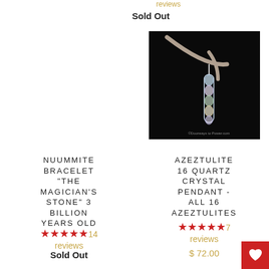reviews
Sold Out
[Figure (photo): Crystal pendant hanging from a bare branch against a black background - Azeztulite 16 Quartz Crystal Pendant]
NUUMMITE BRACELET "THE MAGICIAN'S STONE" 3 BILLION YEARS OLD
AZEZTULITE 16 QUARTZ CRYSTAL PENDANT - ALL 16 AZEZTULITES
★★★★★ 14 reviews
Sold Out
★★★★★ 7 reviews $ 72.00